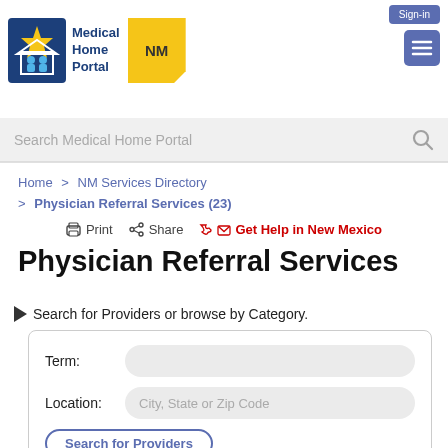Medical Home Portal NM
Sign-in
Search Medical Home Portal
Home > NM Services Directory > Physician Referral Services (23)
Print  Share  Get Help in New Mexico
Physician Referral Services
Search for Providers or browse by Category.
Term:
Location: City, State or Zip Code
Search for Providers